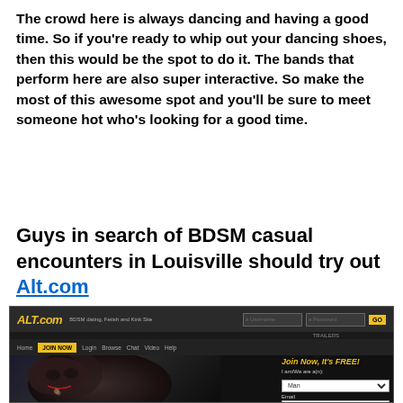The crowd here is always dancing and having a good time. So if you're ready to whip out your dancing shoes, then this would be the spot to do it. The bands that perform here are also super interactive. So make the most of this awesome spot and you'll be sure to meet someone hot who's looking for a good time.
Guys in search of BDSM casual encounters in Louisville should try out Alt.com
[Figure (screenshot): Screenshot of Alt.com website showing logo, navigation bar with JOIN NOW button, and hero image of a woman with a join panel on the right side]